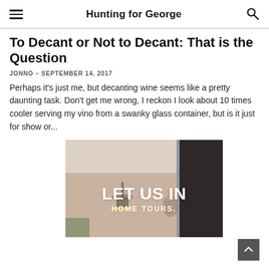Hunting for George
To Decant or Not to Decant: That is the Question
JONNO – SEPTEMBER 14, 2017
Perhaps it's just me, but decanting wine seems like a pretty daunting task. Don't get me wrong, I reckon I look about 10 times cooler serving my vino from a swanky glass container, but is it just for show or...
[Figure (photo): Promotional image with text 'LET US IN' and 'HOME TOURS' overlaid on a photo of a home interior featuring a person by a window and a pendant light]